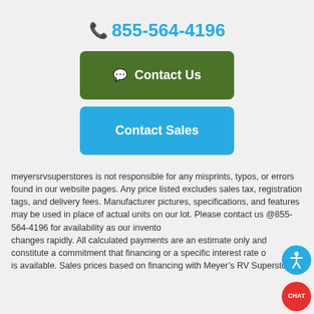855-564-4196
[Figure (other): Contact Us button (green, with chat bubble icon)]
[Figure (other): Contact Sales button (blue)]
meyersrvsuperstores is not responsible for any misprints, typos, or errors found in our website pages. Any price listed excludes sales tax, registration tags, and delivery fees. Manufacturer pictures, specifications, and features may be used in place of actual units on our lot. Please contact us @855-564-4196 for availability as our inventory changes rapidly. All calculated payments are an estimate only and do not constitute a commitment that financing or a specific interest rate or term is available. Sales prices based on financing with Meyer’s RV Superstores.